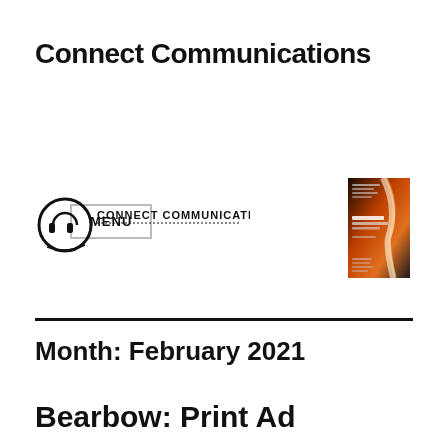Connect Communications
MENU
[Figure (logo): Connect Communications logo with circular headphone icon and dotted underline text]
[Figure (photo): Book cover for Connect Communications with orange/dark background and text]
Month: February 2021
Bearbow: Print Ad